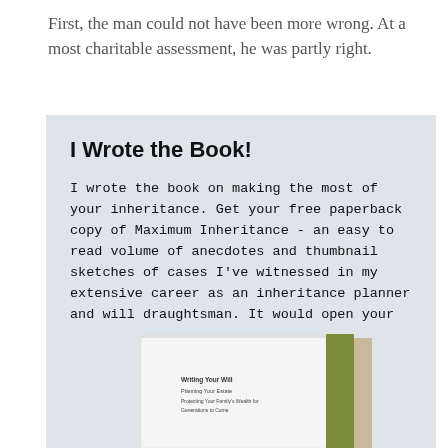First, the man could not have been more wrong. At a most charitable assessment, he was partly right.
I Wrote the Book!
I wrote the book on making the most of your inheritance. Get your free paperback copy of Maximum Inheritance - an easy to read volume of anecdotes and thumbnail sketches of cases I've witnessed in my extensive career as an inheritance planner and will draughtsman. It would open your eyes to what to look out for when writing your will and planning your inheritance.
[Figure (photo): Book cover of a white book with an olive/green spine, titled with text about writing your will, planning your estate, and protecting your family's wealth for generations to come.]